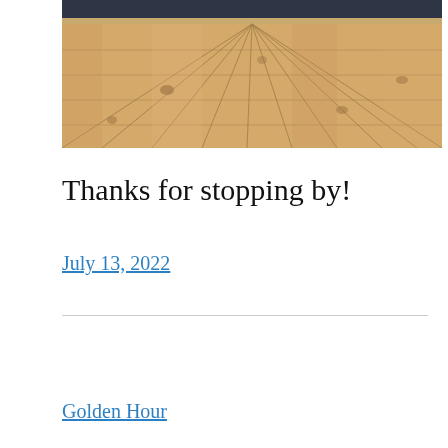[Figure (photo): A perspective view of a light wood plank floor with narrow planks receding toward a dark background, photographed from a low angle.]
Thanks for stopping by!
July 13, 2022
Golden Hour